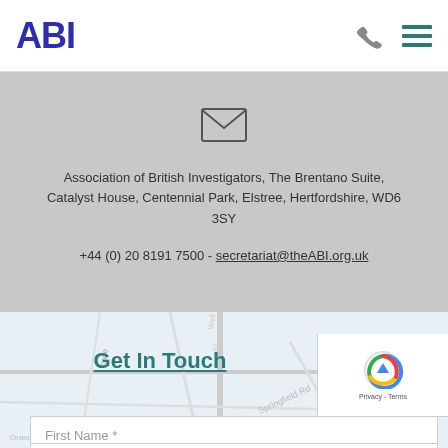ABI
Association of British Investigators, The Brentano Suite, Catalyst House, Centennial Park, Elstree, Hertfordshire, WD6 3SY
+44 (0) 20 8191 7500 - secretariat@theABI.org.uk
[Figure (map): Street map showing area near Blackpool North, with Springfield Rd and surrounding streets visible]
Get In Touch
First Name *